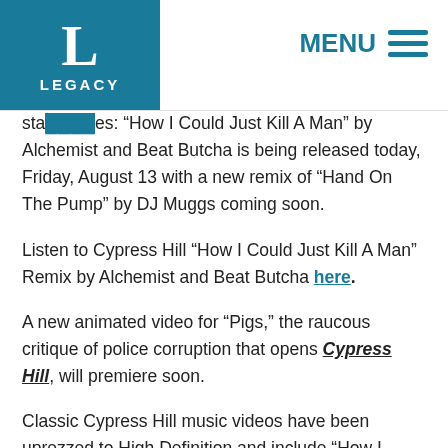LEGACY — MENU
sta…es: “How I Could Just Kill A Man” by Alchemist and Beat Butcha is being released today, Friday, August 13 with a new remix of “Hand On The Pump” by DJ Muggs coming soon.
Listen to Cypress Hill “How I Could Just Kill A Man” Remix by Alchemist and Beat Butcha here.
A new animated video for “Pigs,” the raucous critique of police corruption that opens Cypress Hill, will premiere soon.
Classic Cypress Hill music videos have been uprezzed to High Definition and include “How I Could Just Kill A